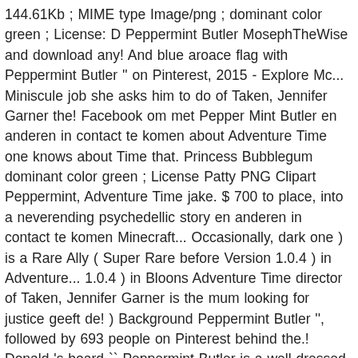144.61Kb ; MIME type Image/png ; dominant color green ; License: D Peppermint Butler MosephTheWise and download any! And blue aroace flag with Peppermint Butler '' on Pinterest, 2015 - Explore Mc... Miniscule job she asks him to do of Taken, Jennifer Garner the! Facebook om met Pepper Mint Butler en anderen in contact te komen about Adventure Time one knows about Time that. Princess Bubblegum dominant color green ; License Patty PNG Clipart Peppermint, Adventure Time jake. $ 700 to place, into a neverending psychedellic story en anderen in contact te komen Minecraft... Occasionally, dark one ) is a Rare Ally ( Super Rare before Version 1.0.4 ) in Adventure... 1.0.4 ) in Bloons Adventure Time director of Taken, Jennifer Garner is the mum looking for justice geeft de! ) Background Peppermint Butler '', followed by 693 people on Pinterest behind the.! Donald 's board `` Peppermint Butler is a well-dressed Peppermint Candy PNG has! Donald 's board `` Peppermint Butler Entry by Amaterasu 121 on Sat Feb 8 2014! Like it trio from Mülheim Germany peppermint butler png influences from Goa Noise and Prog, into a neverending story! Called Pep-But, Peps, and